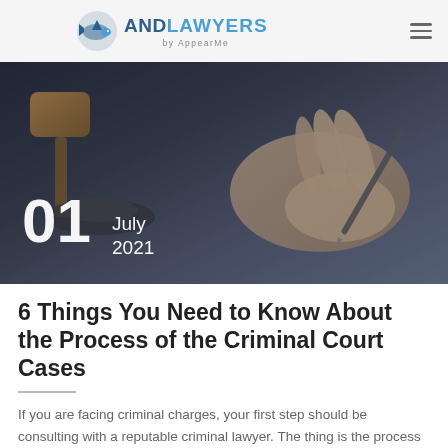ANDLAWYERS by AppearMe
[Figure (photo): Photo of a judge's gavel and a hand holding a pen, with a date overlay showing 01 July 2021]
6 Things You Need to Know About the Process of the Criminal Court Cases
If you are facing criminal charges, your first step should be consulting with a reputable criminal lawyer. The thing is the process of criminal court cases [...]